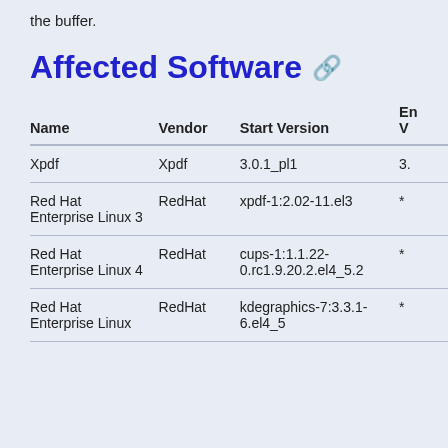the buffer.
Affected Software
| Name | Vendor | Start Version | End Version |
| --- | --- | --- | --- |
| Xpdf | Xpdf | 3.0.1_pl1 | 3. |
| Red Hat Enterprise Linux 3 | RedHat | xpdf-1:2.02-11.el3 | * |
| Red Hat Enterprise Linux 4 | RedHat | cups-1:1.1.22-0.rc1.9.20.2.el4_5.2 | * |
| Red Hat Enterprise Linux | RedHat | kdegraphics-7:3.3.1-6.el4_5 | * |